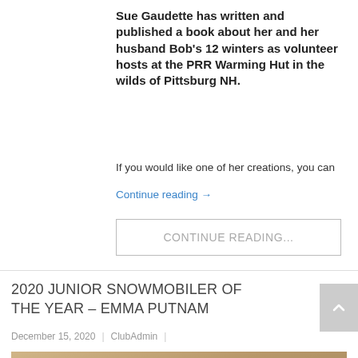Sue Gaudette has written and published a book about her and her husband Bob's 12 winters as volunteer hosts at the PRR Warming Hut in the wilds of Pittsburg NH.
If you would like one of her creations, you can
Continue reading →
CONTINUE READING...
2020 JUNIOR SNOWMOBILER OF THE YEAR – EMMA PUTNAM
December 15, 2020  |  ClubAdmin  |
[Figure (photo): Two people wearing blue face masks standing in front of a wood-paneled wall. A sign partially reading 'Ridg' and 'ners' is visible at the bottom left.]